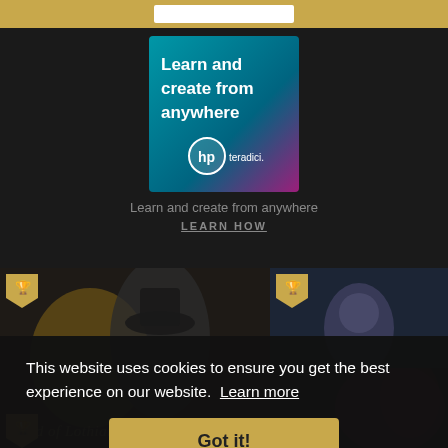[Figure (illustration): HP Teradici advertisement banner with gradient background (teal to magenta). White bold text: 'Learn and create from anywhere'. HP and Teradici logos at bottom.]
Learn and create from anywhere
LEARN HOW
[Figure (photo): Four game artwork thumbnails showing fantasy/character art. Two visible trophy/award badges on left panel and right top panel. Bottom left tile shows 'Child of Lothian' text overlay.]
This website uses cookies to ensure you get the best experience on our website. Learn more
Got it!